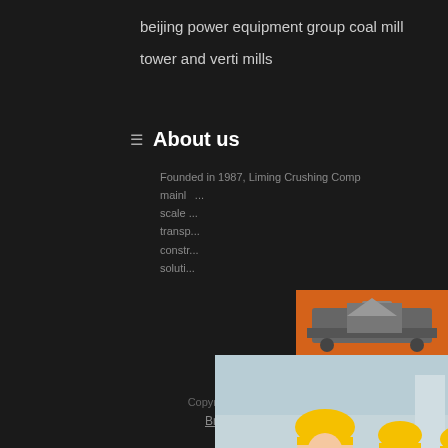beijing power equipment group coal mill
tower and verti mills
About us
Founded in 1987, Liming Crushing Comp... mainly ... scale ... transp... constr... soluti...
[Figure (photo): Live chat popup overlay showing workers in hard hats with LIVE CHAT text and Chat now / Chat later buttons]
[Figure (photo): Orange sidebar panel with machinery images, discount offer, enquiry section and contact email]
Copyright © 2021.Company name All rights rese...
Broken